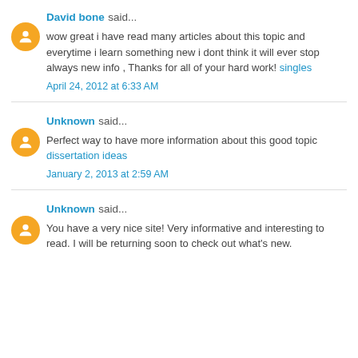David bone said...
wow great i have read many articles about this topic and everytime i learn something new i dont think it will ever stop always new info , Thanks for all of your hard work! singles
April 24, 2012 at 6:33 AM
Unknown said...
Perfect way to have more information about this good topic dissertation ideas
January 2, 2013 at 2:59 AM
Unknown said...
You have a very nice site! Very informative and interesting to read. I will be returning soon to check out what's new.